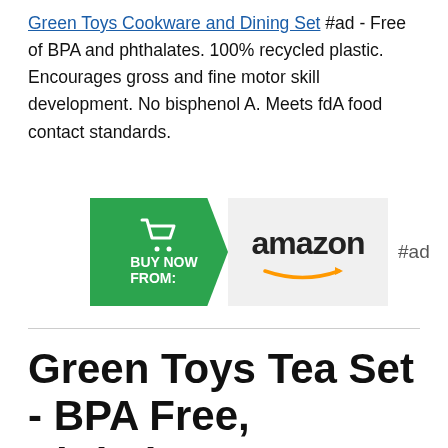Green Toys Cookware and Dining Set #ad - Free of BPA and phthalates. 100% recycled plastic. Encourages gross and fine motor skill development. No bisphenol A. Meets fdA food contact standards.
[Figure (other): Buy Now From Amazon button with green arrow and Amazon logo, labeled #ad]
Green Toys Tea Set - BPA Free, Phthalates Free Play Toys for Gross Motor, Fine